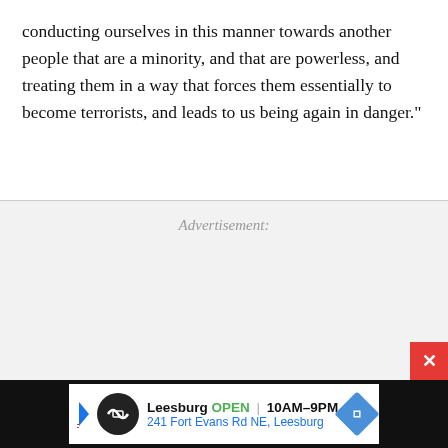conducting ourselves in this manner towards another people that are a minority, and that are powerless, and treating them in a way that forces them essentially to become terrorists, and leads to us being again in danger."
Advertisement: